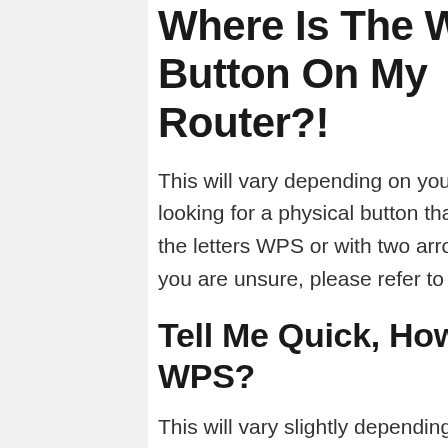Where Is The WPS Button On My Router?!
This will vary depending on your router, but generally, you will be looking for a physical button that will often be marked out with either the letters WPS or with two arrows pointing in opposite directions. If you are unsure, please refer to your router's instruction manual.
Tell Me Quick, How Do I Connect With WPS?
This will vary slightly depending on the exact device you are using, however, connecting with WPS will usually go